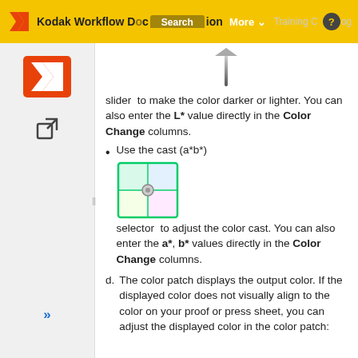Kodak Workflow Documentation  Search  More  Training Catalog
slider [image] to make the color darker or lighter. You can also enter the L* value directly in the Color Change columns.
Use the cast (a*b*) selector [image] to adjust the color cast. You can also enter the a*, b* values directly in the Color Change columns.
d. The color patch displays the output color. If the displayed color does not visually align to the color on your proof or press sheet, you can adjust the displayed color in the color patch: